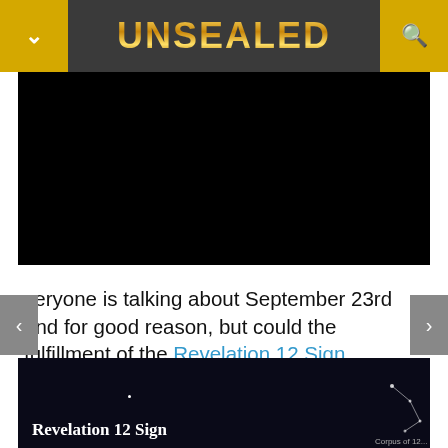UNSEALED
[Figure (screenshot): Black video player area embedded in the page]
veryone is talking about September 23rd and for good reason, but could the fulfillment of the Revelation 12 Sign actually occur the next day on the 24th?  I offer this only to examine the possibility that we could be off by a day.  Here is the September 23rd alignment that we are all well acquainted with by now:
[Figure (screenshot): Dark star chart image showing 'Revelation 12 Sign' constellation alignment]